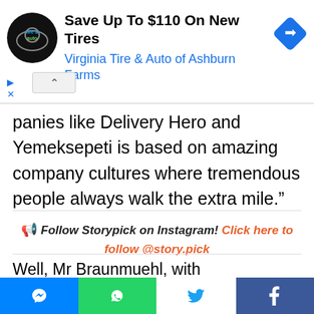[Figure (screenshot): Advertisement banner: Virginia Tire & Auto of Ashburn Farms - Save Up To $110 On New Tires, with logo and navigation arrow icon]
panies like Delivery Hero and Yemeksepeti is based on amazing company cultures where tremendous people always walk the extra mile.”
📣 Follow Storypick on Instagram! Click here to follow @story.pick
Well, Mr Braunmuehl, with compensations like these, employees won’t mind walking many
[Figure (screenshot): Social share bar with Messenger, WhatsApp, Twitter, and Facebook buttons]